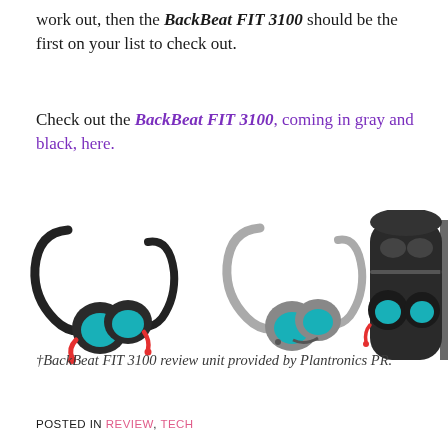work out, then the BackBeat FIT 3100 should be the first on your list to check out.
Check out the BackBeat FIT 3100, coming in gray and black, here.
[Figure (photo): Four images of Plantronics BackBeat FIT 3100 wireless earbuds: black pair with red accents (loose), gray pair (loose), black pair in open charging case, and partial view of another case with earbuds.]
†BackBeat FIT 3100 review unit provided by Plantronics PR.
POSTED IN REVIEW, TECH